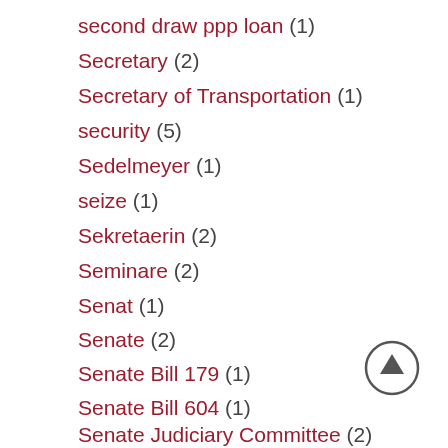second draw ppp loan (1)
Secretary (2)
Secretary of Transportation (1)
security (5)
Sedelmeyer (1)
seize (1)
Sekretaerin (2)
Seminare (2)
Senat (1)
Senate (2)
Senate Bill 179 (1)
Senate Bill 604 (1)
Senate Judiciary Committee (2)